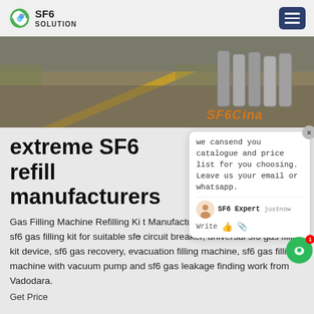[Figure (logo): SF6 Solution logo with green circular arrow icon, text 'SF6' bold and 'SOLUTION' in caps]
[Figure (photo): Banner photo showing road with yellow line and large gas cylinders in background, with 'SF6China' text overlay]
extreme SF6 refill manufacturers
Gas Filling Machine Refilling Kit Manufacturer & Wholesale Trader of sf6 gas filling kit for suitable sfc circuit breaker, universal sf6 gas filling kit device, sf6 gas recovery, evacuation filling machine, sf6 gas filling machine with vacuum pump and sf6 gas leakage finding work from Vadodara.
Get Price
[Figure (screenshot): Chat popup overlay with message 'we can send you catalogue and price list for you choosing. Leave us your email or whatsapp.' with agent avatar, SF6 Expert label, just now timestamp, Write field with thumbs up and attachment icons]